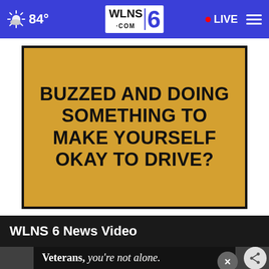84° WLNS.COM 6 LIVE
[Figure (infographic): Yellow advertisement panel with bold black text reading: BUZZED AND DOING SOMETHING TO MAKE YOURSELF OKAY TO DRIVE?]
WLNS 6 News Video
[Figure (screenshot): Video player preview area with dark overlay showing advertisement banner: Veterans, you're not alone. Close button (x) and share button visible.]